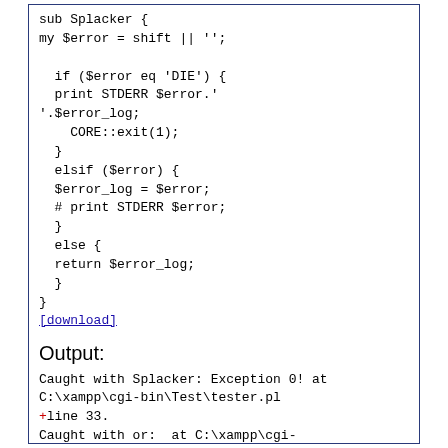sub Splacker {
my $error = shift || '';

  if ($error eq 'DIE') {
  print STDERR $error.'
'.$error_log;
    CORE::exit(1);
  }
  elsif ($error) {
  $error_log = $error;
  # print STDERR $error;
  }
  else {
  return $error_log;
  }
}
[download]
Output:
Caught with Splacker: Exception 0! at C:\xampp\cgi-bin\Test\tester.pl +line 33.
Caught with or:  at C:\xampp\cgi-bin\Test\tester.pl line 56.
Caught with Try::Tiny:  at C:\xampp\cgi-